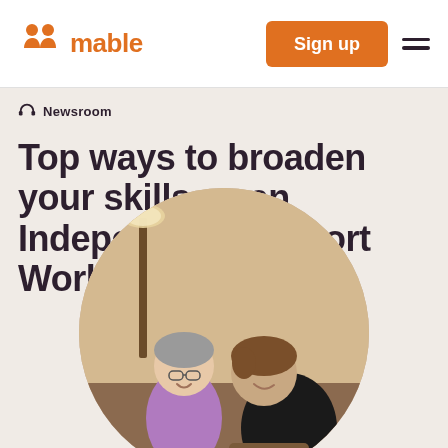[Figure (logo): Mable logo with two person icons in orange and the text 'mable' in orange]
[Figure (other): Sign up button (orange) and hamburger menu icon]
Newsroom
Top ways to broaden your skills as an Independent Support Worker
[Figure (photo): Circular photo of an elderly woman in purple top and a younger woman in black leaning toward her, appearing to have a joyful conversation in a warmly lit room]